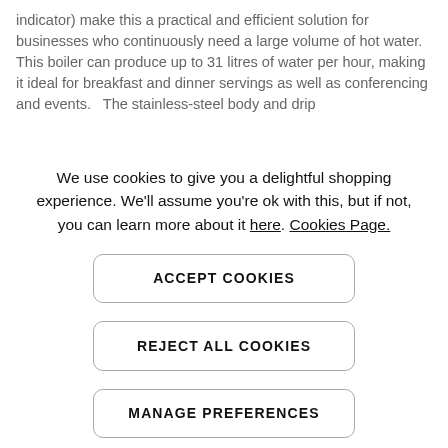indicator) make this a practical and efficient solution for businesses who continuously need a large volume of hot water.
This boiler can produce up to 31 litres of water per hour, making it ideal for breakfast and dinner servings as well as conferencing and events.   The stainless-steel body and drip
We use cookies to give you a delightful shopping experience. We'll assume you're ok with this, but if not, you can learn more about it here. Cookies Page.
ACCEPT COOKIES
REJECT ALL COOKIES
MANAGE PREFERENCES